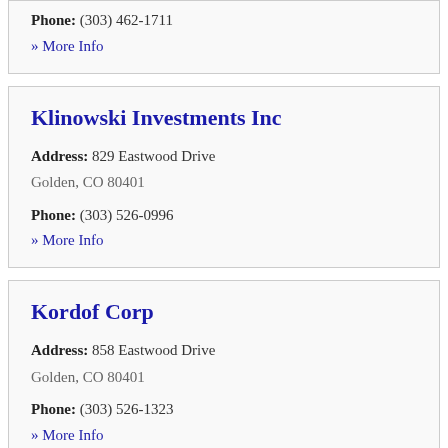Phone: (303) 462-1711
» More Info
Klinowski Investments Inc
Address: 829 Eastwood Drive Golden, CO 80401
Phone: (303) 526-0996
» More Info
Kordof Corp
Address: 858 Eastwood Drive Golden, CO 80401
Phone: (303) 526-1323
» More Info